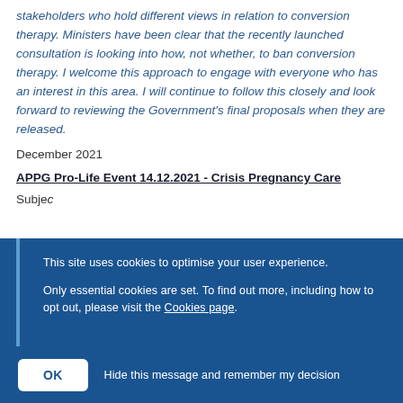stakeholders who hold different views in relation to conversion therapy. Ministers have been clear that the recently launched consultation is looking into how, not whether, to ban conversion therapy. I welcome this approach to engage with everyone who has an interest in this area. I will continue to follow this closely and look forward to reviewing the Government's final proposals when they are released.
December 2021
APPG Pro-Life Event 14.12.2021 - Crisis Pregnancy Care
Subje...
This site uses cookies to optimise your user experience.

Only essential cookies are set. To find out more, including how to opt out, please visit the Cookies page.
OK   Hide this message and remember my decision